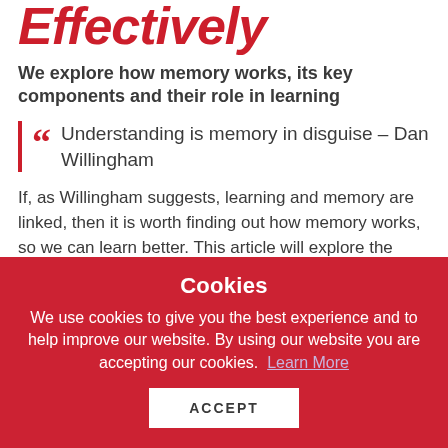Effectively
We explore how memory works, its key components and their role in learning
Understanding is memory in disguise – Dan Willingham
If, as Willingham suggests, learning and memory are linked, then it is worth finding out how memory works, so we can learn better. This article will explore the workings of three key components of memory: attention; working memory and long-term
Cookies
We use cookies to give you the best experience and to help improve our website. By using our website you are accepting our cookies. Learn More
ACCEPT